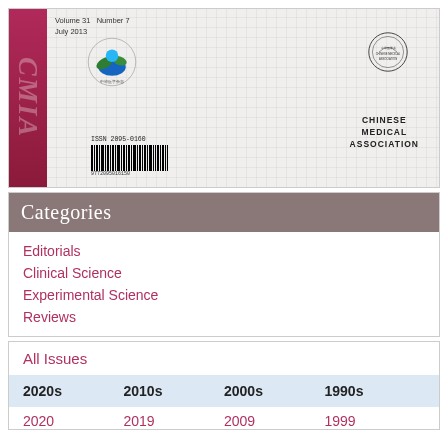[Figure (photo): Journal cover of a Chinese medical journal, Volume 31 Number 7, July 2013. Shows a pink/magenta spine on the left, a grid-patterned cover with a colorful logo (blue/green bird-like figure), a circular seal, ISSN 2095-0160 barcode, and 'CHINESE MEDICAL ASSOCIATION' text on the right side.]
Categories
Editorials
Clinical Science
Experimental Science
Reviews
All Issues
| 2020s | 2010s | 2000s | 1990s |
| --- | --- | --- | --- |
| 2020 | 2019 | 2009 | 1999 |